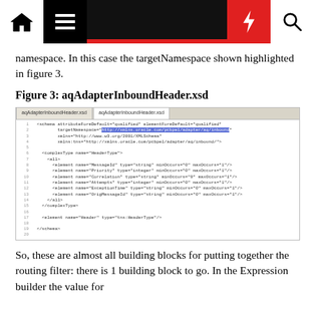Navigation header with home, menu, lightning bolt, and search icons
namespace. In this case the targetNamespace shown highlighted in figure 3.
Figure 3: aqAdapterInboundHeader.xsd
[Figure (screenshot): Screenshot of aqAdapterInboundHeader.xsd XML schema file showing the targetNamespace URL highlighted in blue]
So, these are almost all building blocks for putting together the routing filter: there is 1 building block to go. In the Expression builder the value for